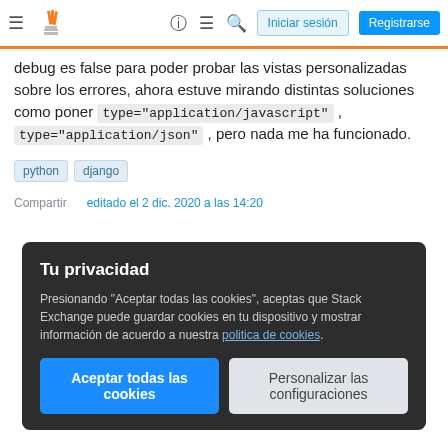Stack Overflow navigation bar with hamburger menu, logo, help, chat, search icons, Iniciar sesión and Registrarse buttons
debug es false para poder probar las vistas personalizadas sobre los errores, ahora estuve mirando distintas soluciones como poner type="application/javascript", type="application/json", pero nada me ha funcionado.
python
django
Compartir    editado el 2 dic. 2020 a las 14:20
Tu privacidad
Presionando "Aceptar todas las cookies", aceptas que Stack Exchange puede guardar cookies en tu dispositivo y mostrar información de acuerdo a nuestra politica de cookies.
Aceptar todas las cookies
Personalizar las configuraciones